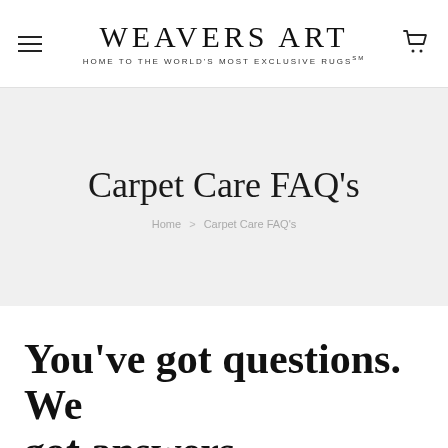WEAVERS ART — HOME TO THE WORLD'S MOST EXCLUSIVE RUGS™
Carpet Care FAQ's
Home > Carpet Care FAQ's
You've got questions. We got answers